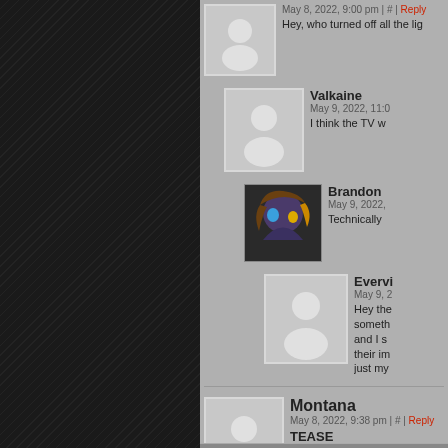May 8, 2022, 9:00 pm | # | Reply
Hey, who turned off all the lig
Valkaine
May 9, 2022, 11:0
I think the TV w
Brandon
May 9, 2022,
Technically
Evervi
May 9, 2
Hey the something and I s their im just my
Montana
May 8, 2022, 9:38 pm | # | Reply
TEASE